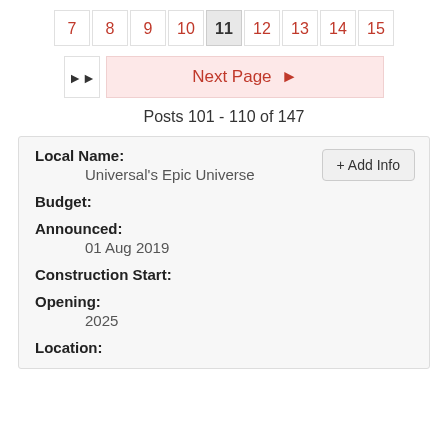7 8 9 10 11 12 13 14 15
Next Page ▶
Posts 101 - 110 of 147
Local Name: Universal's Epic Universe
Budget:
Announced: 01 Aug 2019
Construction Start:
Opening: 2025
Location: